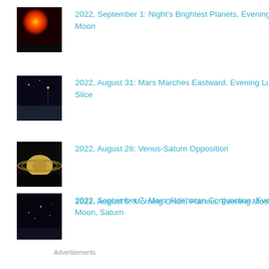2022, September 1: Night’s Brightest Planets, Evening Moon
2022, August 31: Mars Marches Eastward, Evening Lunar Slice
2022, August 28: Venus-Saturn Opposition
2022, September 7: Mars-Aldebaran Conjunction, Evening Moon, Saturn
2022, August 5: Morning Orion, Planets, Evening Moon
Advertisements